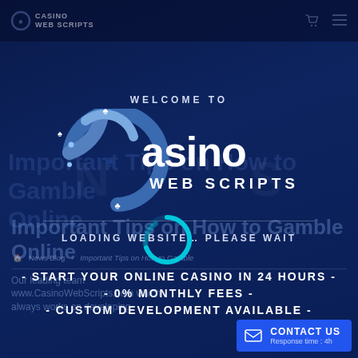Casino Web Scripts
WELCOME TO Casino WEB SCRIPTS
LOADING WEBSITE… PLEASE WAIT
- START YOUR ONLINE CASINO IN 24 HOURS -
- 0% MONTHLY FEES -
- CUSTOM DEVELOPMENT AVAILABLE -
Important Tips on How to Gamble Online
Our leading team … www.CasinoWebScripts.com which always works on developing
[Figure (logo): Casino Web Scripts logo with circular arc containing card suit symbols]
[Figure (other): Loading spinner icon (teal circular arrow)]
CONTACT US
Response time : 4h